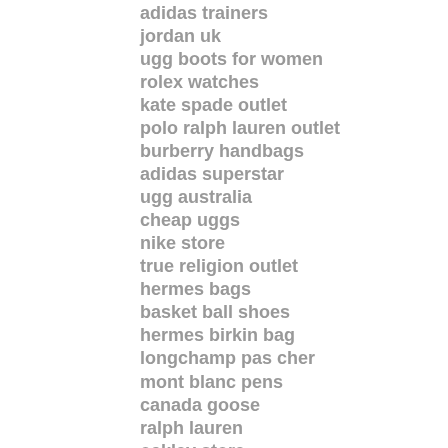adidas trainers
jordan uk
ugg boots for women
rolex watches
kate spade outlet
polo ralph lauren outlet
burberry handbags
adidas superstar
ugg australia
cheap uggs
nike store
true religion outlet
hermes bags
basket ball shoes
hermes birkin bag
longchamp pas cher
mont blanc pens
canada goose
ralph lauren
oakley store
michael kors handbags
ralph lauren
instyler curling iron